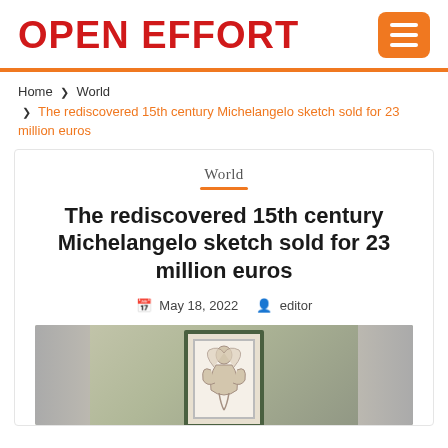OPEN EFFORT
Home › World › The rediscovered 15th century Michelangelo sketch sold for 23 million euros
World
The rediscovered 15th century Michelangelo sketch sold for 23 million euros
May 18, 2022  editor
[Figure (photo): Framed Michelangelo sketch displayed against a green and grey background]